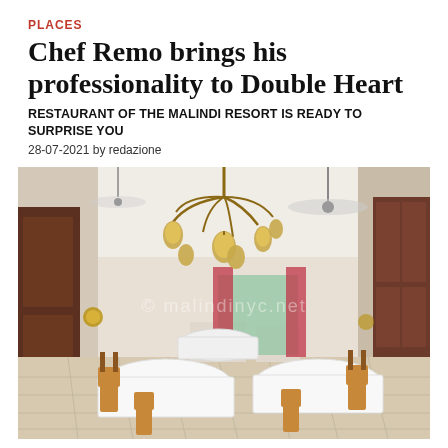PLACES
Chef Remo brings his professionality to Double Heart
RESTAURANT OF THE MALINDI RESORT IS READY TO SURPRISE YOU
28-07-2021 by redazione
[Figure (photo): Interior of Double Heart restaurant at the Malindi Resort, showing an elegant dining room with white-clothed tables, wooden chairs, ornate Moroccan-style hanging lanterns, arched white walls, and a tiled floor. A watermark reading '© malindinyc.net' is overlaid.]